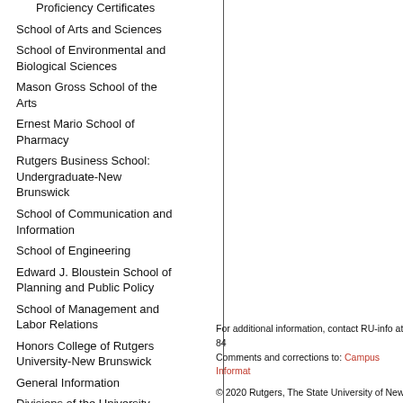Proficiency Certificates
School of Arts and Sciences
School of Environmental and Biological Sciences
Mason Gross School of the Arts
Ernest Mario School of Pharmacy
Rutgers Business School: Undergraduate-New Brunswick
School of Communication and Information
School of Engineering
Edward J. Bloustein School of Planning and Public Policy
School of Management and Labor Relations
Honors College of Rutgers University-New Brunswick
General Information
Divisions of the University
For additional information, contact RU-info at 84 Comments and corrections to: Campus Informat
© 2020 Rutgers, The State University of New Je